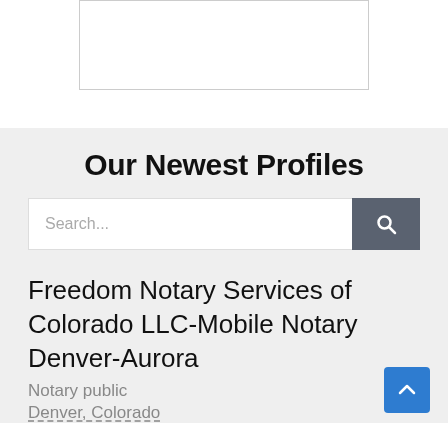[Figure (other): White rectangular image box with light border at top of page]
Our Newest Profiles
[Figure (other): Search bar with text input and dark gray search button with magnifying glass icon]
Freedom Notary Services of Colorado LLC-Mobile Notary Denver-Aurora
Notary public
Denver, Colorado